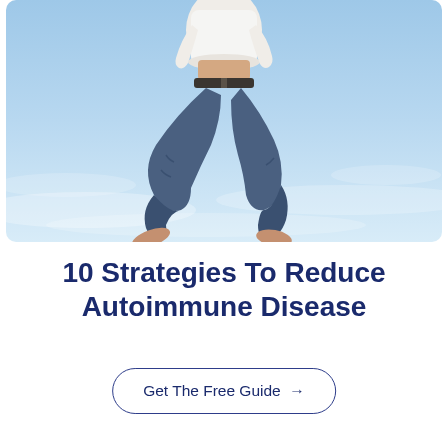[Figure (photo): Person jumping in the air against a blue sky background, wearing jeans and a white shirt, viewed from below with knees bent up]
10 Strategies To Reduce Autoimmune Disease
Get The Free Guide →